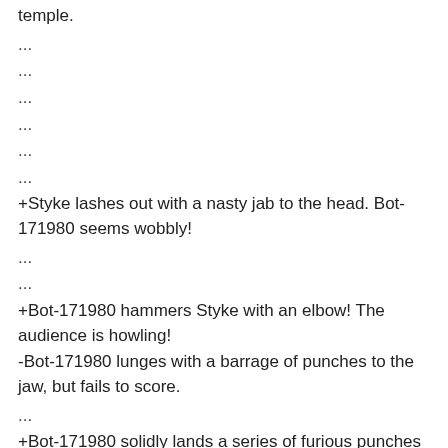temple.
...
...
...
...
...
...
+Styke lashes out with a nasty jab to the head. Bot-171980 seems wobbly!
...
...
+Bot-171980 hammers Styke with an elbow! The audience is howling!
-Bot-171980 lunges with a barrage of punches to the jaw, but fails to score.
...
+Bot-171980 solidly lands a series of furious punches to the nose.
...